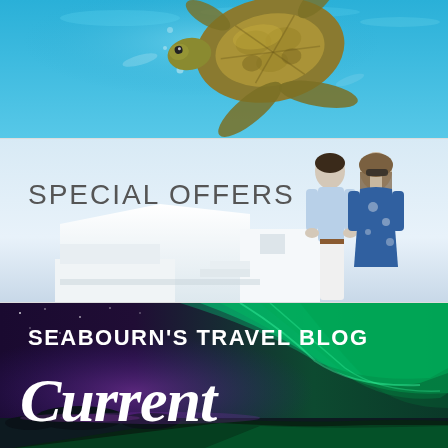[Figure (photo): Underwater photograph of a sea turtle swimming in bright turquoise-blue water with bubbles and light reflections visible.]
[Figure (photo): Couple smiling and embracing on a white Santorini-style terrace with white architecture in background. Text overlay reads 'SPECIAL OFFERS'.]
SPECIAL OFFERS
[Figure (photo): Northern lights / aurora borealis in green over dark landscape with water reflection and rocks. Text overlay reads 'SEABOURN'S TRAVEL BLOG' and 'Current' in large cursive script.]
SEABOURN'S TRAVEL BLOG
Current